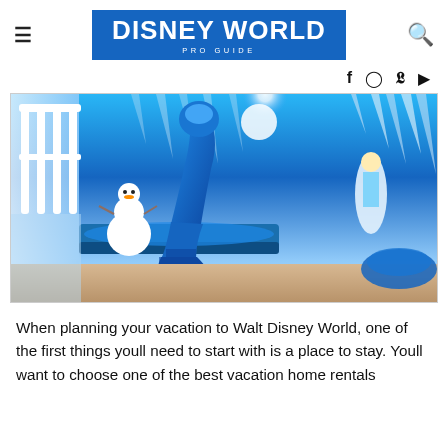DISNEY WORLD PRO GUIDE
[Figure (photo): Frozen-themed children's bedroom with a blue slide, bunk beds with ice castle murals, Olaf snowman character on the wall, Elsa character figure, and blue ball pit, decorated entirely in shades of blue with ice and snow motifs]
When planning your vacation to Walt Disney World, one of the first things youll need to start with is a place to stay. Youll want to choose one of the best vacation home rentals